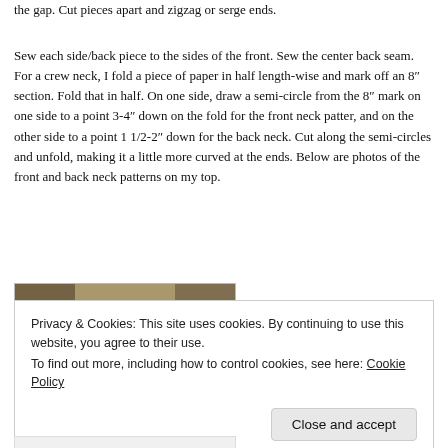the gap.  Cut pieces apart and zigzag or serge ends.
Sew each side/back piece to the sides of the front.  Sew the center back seam.  For a crew neck, I fold a piece of paper in half length-wise and mark off an 8″ section.  Fold that in half.  On one side, draw a semi-circle from the 8″ mark on one side to a point 3-4″ down on the fold for the front neck patter, and on the other side to a point 1 1/2-2″ down for the back neck.  Cut along the semi-circles and unfold, making it a little more curved at the ends.  Below are photos of the front and back neck patterns on my top.
[Figure (photo): Partial photo of fabric or sewing material, showing a brownish/tan colored strip at the top of the image]
Privacy & Cookies: This site uses cookies. By continuing to use this website, you agree to their use.
To find out more, including how to control cookies, see here: Cookie Policy
Close and accept